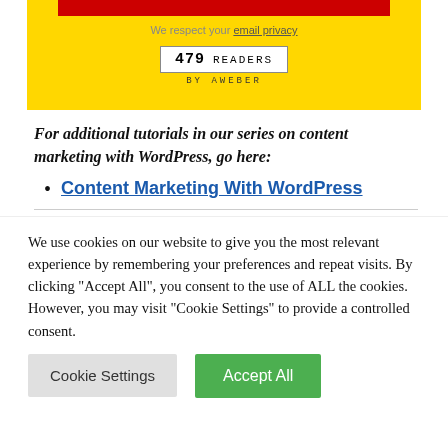[Figure (screenshot): Yellow background section with a red subscribe button (partially cropped), 'We respect your email privacy' text with a link, and an AWeber subscriber count widget showing 479 READERS BY AWEBER]
For additional tutorials in our series on content marketing with WordPress, go here:
Content Marketing With WordPress
We use cookies on our website to give you the most relevant experience by remembering your preferences and repeat visits. By clicking "Accept All", you consent to the use of ALL the cookies. However, you may visit "Cookie Settings" to provide a controlled consent.
Cookie Settings | Accept All